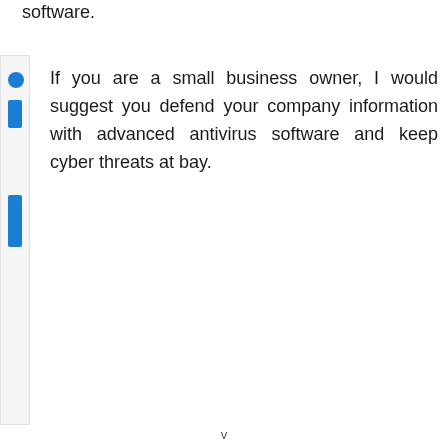software.
If you are a small business owner, I would suggest you defend your company information with advanced antivirus software and keep cyber threats at bay.
v